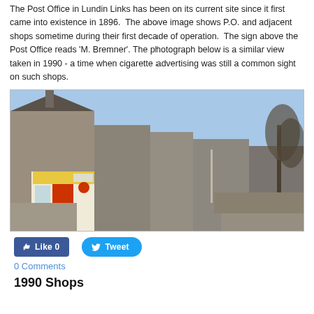The Post Office in Lundin Links has been on its current site since it first came into existence in 1896. The above image shows P.O. and adjacent shops sometime during their first decade of operation. The sign above the Post Office reads 'M. Bremner'. The photograph below is a similar view taken in 1990 - a time when cigarette advertising was still a common sight on such shops.
[Figure (photo): Street-level photograph taken in 1990 showing the Lundin Links Post Office on the left side of a road, with stone buildings, a red-framed shop front with signage, and bare trees visible on the right side under a blue sky.]
Like 0   Tweet
0 Comments
1990 Shops